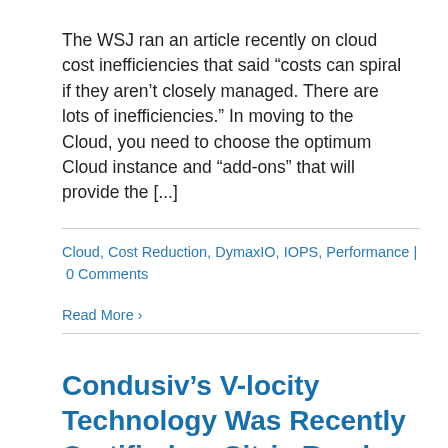The WSJ ran an article recently on cloud cost inefficiencies that said “costs can spiral if they aren’t closely managed. There are lots of inefficiencies.” In moving to the Cloud, you need to choose the optimum Cloud instance and “add-ons” that will provide the [...]
Cloud, Cost Reduction, DymaxIO, IOPS, Performance | 0 Comments
Read More ›
Condusiv’s V-locity Technology Was Recently Certified as Citrix Ready